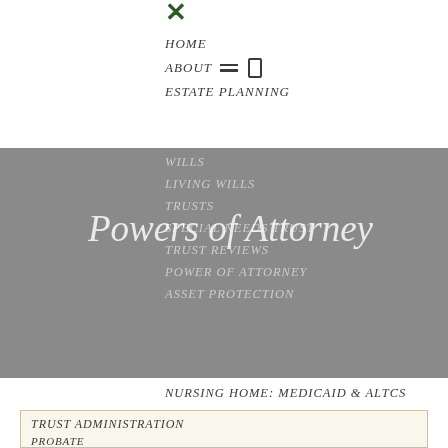[Figure (screenshot): Navigation menu overlay of a law firm website showing estate planning related links on white and grey backgrounds]
× (close icon)
HOME
ABOUT
ESTATE PLANNING
WILLS
LIVING WILLS
TRUSTS
SPECIAL NEEDS TRUST
TRUST REVIEWS
POWER OF ATTORNEY
ASSET PROTECTION
NURSING HOME: MEDICAID & ALTCS
Powers of Attorney
TRUST ADMINISTRATION
PROBATE
Health Care Power of Attorney